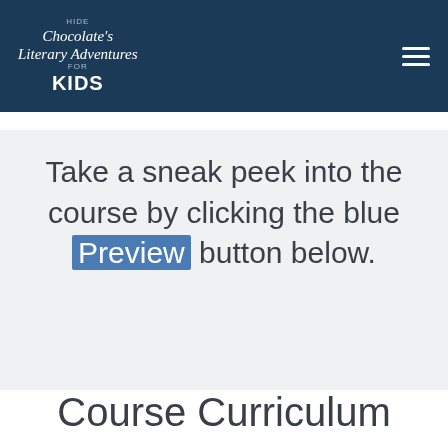Hide Chocolates Literary Adventures for KIDS
Take a sneak peek into the course by clicking the blue Preview button below.
Course Curriculum